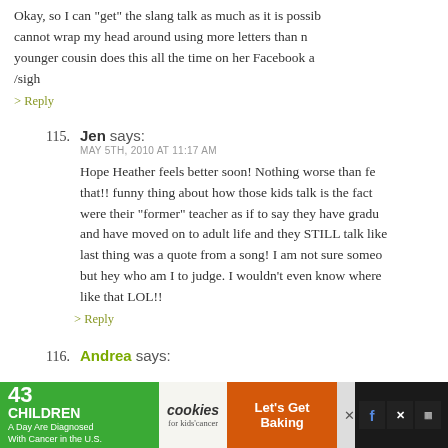Okay, so I can "get" the slang talk as much as it is possible. I cannot wrap my head around using more letters than necessary. My younger cousin does this all the time on her Facebook a... /sigh
> Reply
115. Jen says: MAY 5TH, 2010 AT 11:17 AM
Hope Heather feels better soon! Nothing worse than fe... that!! funny thing about how those kids talk is the fact ... were their "former" teacher as if to say they have gradu... and have moved on to adult life and they STILL talk like... last thing was a quote from a song! I am not sure someo... but hey who am I to judge. I wouldn't even know where... like that LOL!!
> Reply
116. Andrea says:
[Figure (infographic): Advertisement banner: '43 CHILDREN A Day Are Diagnosed With Cancer in the U.S.' with cookies for kids' cancer logo and 'Let's Get Baking' call to action on orange background. Social media icons and close buttons visible on dark background.]